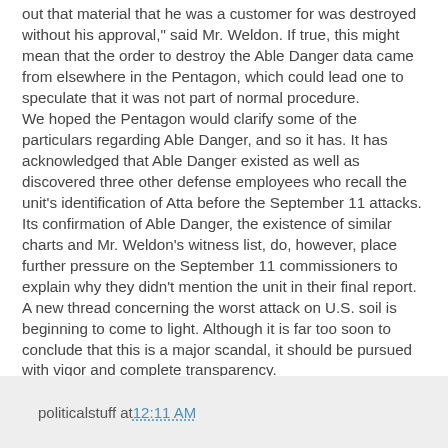out that material that he was a customer for was destroyed without his approval," said Mr. Weldon. If true, this might mean that the order to destroy the Able Danger data came from elsewhere in the Pentagon, which could lead one to speculate that it was not part of normal procedure. We hoped the Pentagon would clarify some of the particulars regarding Able Danger, and so it has. It has acknowledged that Able Danger existed as well as discovered three other defense employees who recall the unit's identification of Atta before the September 11 attacks. Its confirmation of Able Danger, the existence of similar charts and Mr. Weldon's witness list, do, however, place further pressure on the September 11 commissioners to explain why they didn't mention the unit in their final report. A new thread concerning the worst attack on U.S. soil is beginning to come to light. Although it is far too soon to conclude that this is a major scandal, it should be pursued with vigor and complete transparency.
politicalstuff at 12:11 AM